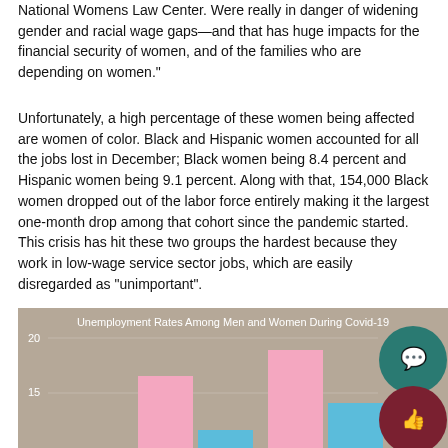National Womens Law Center. Were really in danger of widening gender and racial wage gaps—and that has huge impacts for the financial security of women, and of the families who are depending on women."
Unfortunately, a high percentage of these women being affected are women of color. Black and Hispanic women accounted for all the jobs lost in December; Black women being 8.4 percent and Hispanic women being 9.1 percent. Along with that, 154,000 Black women dropped out of the labor force entirely making it the largest one-month drop among that cohort since the pandemic started. This crisis has hit these two groups the hardest because they work in low-wage service sector jobs, which are easily disregarded as "unimportant".
[Figure (bar-chart): Bar chart showing unemployment rates among men and women during Covid-19, with y-axis values visible at 15 and 20. Pink bars represent women, blue bars represent men. Chart is partially cropped at bottom.]